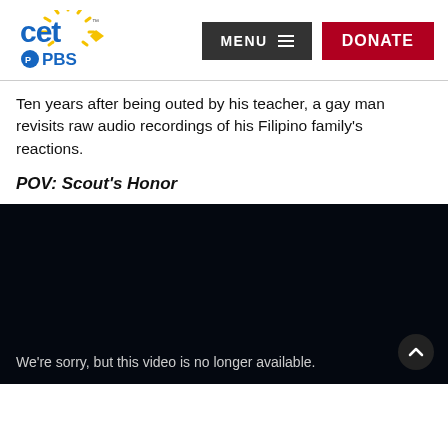[Figure (logo): CET PBS logo — colorful CET text with sun rays and PBS circular logo below]
[Figure (other): MENU button (dark background) and DONATE button (red background) in header navigation]
Ten years after being outed by his teacher, a gay man revisits raw audio recordings of his Filipino family's reactions.
POV: Scout's Honor
[Figure (screenshot): Black video player area displaying the message: We're sorry, but this video is no longer available. Scroll-to-top button in bottom right corner.]